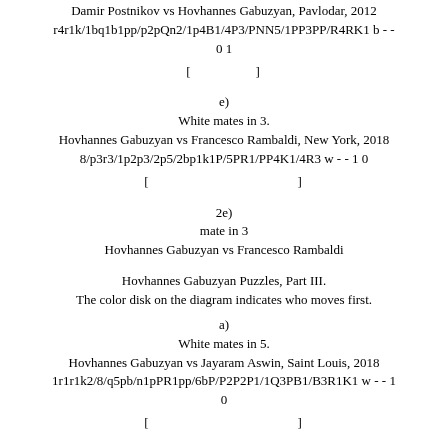Damir Postnikov vs Hovhannes Gabuzyan, Pavlodar, 2012
r4r1k/1bq1b1pp/p2pQn2/1p4B1/4P3/PNN5/1PP3PP/R4RK1 b - - 0 1
[                ]
e)
White mates in 3.
Hovhannes Gabuzyan vs Francesco Rambaldi, New York, 2018
8/p3r3/1p2p3/2p5/2bp1k1P/5PR1/PP4K1/4R3 w - - 1 0
[                              ]
2e)
mate in 3
Hovhannes Gabuzyan vs Francesco Rambaldi
Hovhannes Gabuzyan Puzzles, Part III.
The color disk on the diagram indicates who moves first.
a)
White mates in 5.
Hovhannes Gabuzyan vs Jayaram Aswin, Saint Louis, 2018
1r1r1k2/8/q5pb/n1pPR1pp/6bP/P2P2P1/1Q3PB1/B3R1K1 w - - 1
0
[                              ]
b)
Hovhannes Gabuzyan vs Christopher Yoo, Saint Louis, 2018